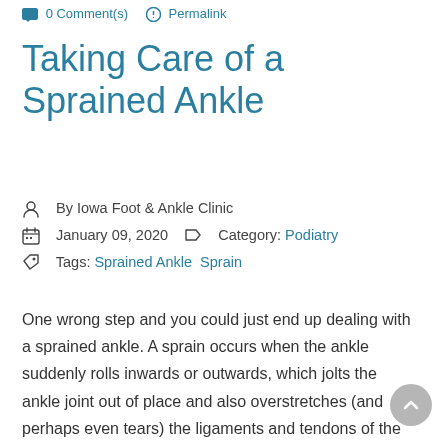0 Comment(s)   Permalink
Taking Care of a Sprained Ankle
By Iowa Foot & Ankle Clinic
January 09, 2020   Category: Podiatry
Tags: Sprained Ankle   Sprain
One wrong step and you could just end up dealing with a sprained ankle. A sprain occurs when the ankle suddenly rolls inwards or outwards, which jolts the ankle joint out of place and also overstretches (and perhaps even tears) the ligaments and tendons of the ankles. These